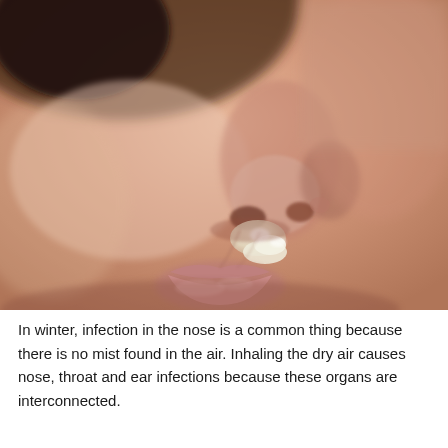[Figure (photo): Close-up photograph of a baby's face showing the nose and mouth area with visible nasal discharge/mucus running from the nostrils, indicating a cold or respiratory infection. The skin is healthy-looking with warm pinkish tones.]
In winter, infection in the nose is a common thing because there is no mist found in the air. Inhaling the dry air causes nose, throat and ear infections because these organs are interconnected.